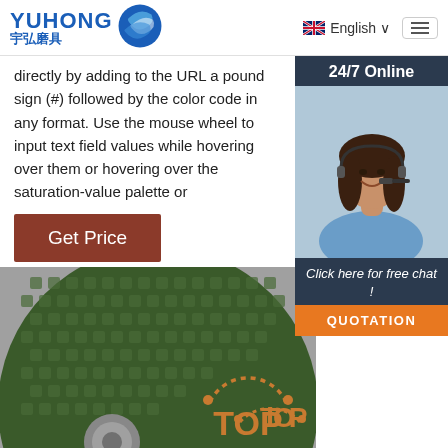YUHONG 宇弘磨具 — English navigation header
directly by adding to the URL a pound sign (#) followed by the color code in any format. Use the mouse wheel to input text field values while hovering over them or hovering over the saturation-value palette or
Get Price
[Figure (photo): Chat widget with woman wearing headset, 24/7 Online label, Click here for free chat!, QUOTATION button]
[Figure (photo): Close-up photo of a green grinding/abrasive disc wheel with textured surface and metal center hub, with TOP badge overlay]